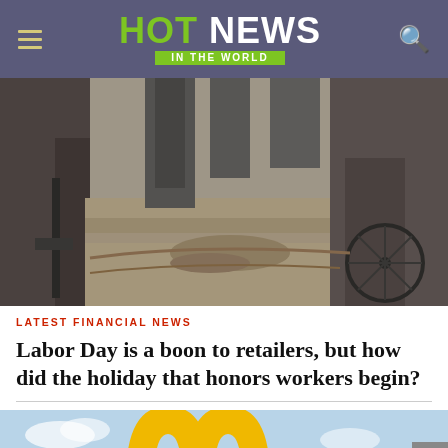HOT NEWS IN THE WORLD
[Figure (photo): Black and white historical photo of workers with equipment, possibly road workers or laborers, taken from ground level with machinery and people visible]
LATEST FINANCIAL NEWS
Labor Day is a boon to retailers, but how did the holiday that honors workers begin?
[Figure (photo): Partial view of golden arches (McDonald's logo) against a blue sky background, cropped at top of the frame]